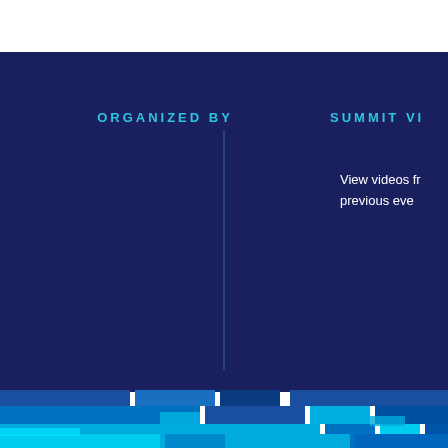ORGANIZED BY
SUMMIT VI
View videos fr previous eve
[Figure (infographic): Bottom decorative bar with blue pixel/block pattern in shades of cyan and blue on dark navy background]